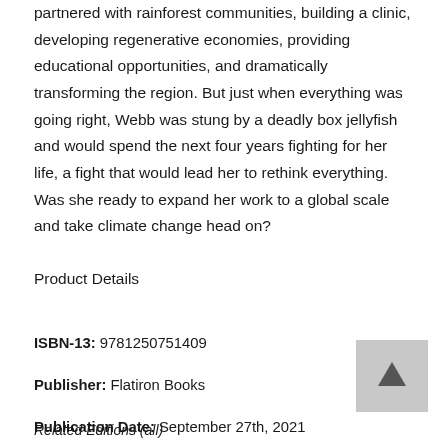partnered with rainforest communities, building a clinic, developing regenerative economies, providing educational opportunities, and dramatically transforming the region. But just when everything was going right, Webb was stung by a deadly box jellyfish and would spend the next four years fighting for her life, a fight that would lead her to rethink everything. Was she ready to expand her work to a global scale and take climate change head on?
Product Details
ISBN-13: 9781250751409
Publisher: Flatiron Books
Publication Date: September 27th, 2021
Language:
Related Editions (all)